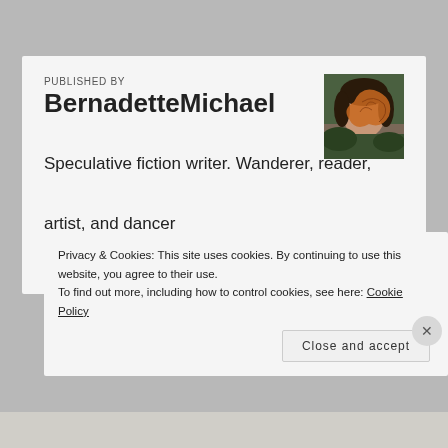PUBLISHED BY
BernadetteMichael
[Figure (photo): Author portrait photo showing a person partially obscured by an autumn leaf]
Speculative fiction writer. Wanderer, reader, artist, and dancer
View all posts by BernadetteMichael
Privacy & Cookies: This site uses cookies. By continuing to use this website, you agree to their use.
To find out more, including how to control cookies, see here: Cookie Policy
Close and accept